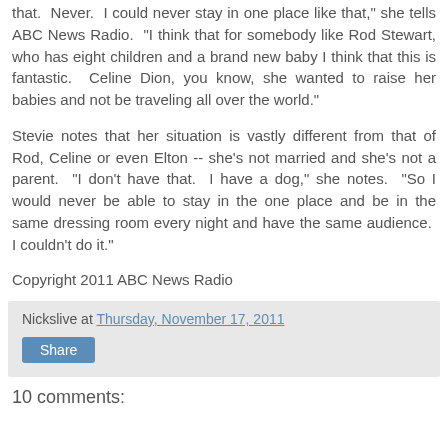that.  Never.  I could never stay in one place like that," she tells ABC News Radio.  "I think that for somebody like Rod Stewart, who has eight children and a brand new baby I think that this is fantastic.  Celine Dion, you know, she wanted to raise her babies and not be traveling all over the world."
Stevie notes that her situation is vastly different from that of Rod, Celine or even Elton -- she's not married and she's not a parent.  "I don't have that.  I have a dog," she notes.  "So I would never be able to stay in the one place and be in the same dressing room every night and have the same audience.  I couldn't do it."
Copyright 2011 ABC News Radio
Nickslive at Thursday, November 17, 2011
Share
10 comments: